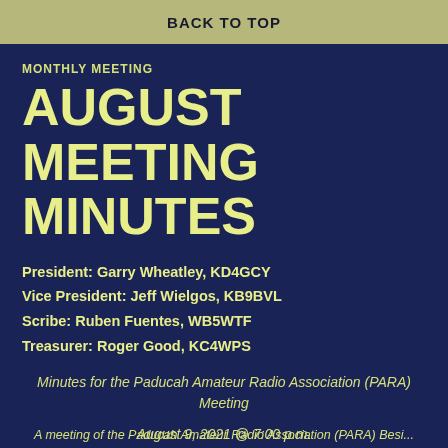BACK TO TOP
MONTHLY MEETING
AUGUST MEETING MINUTES
President: Garry Wheatley, KD4GCY
Vice President: Jeff Wielgos, KB9BVL
Scribe: Ruben Fuentes, WB5WTF
Treasurer: Roger Good, KC4WPS
Minutes for the Paducah Amateur Radio Association (PARA) Meeting
August 9, 2021 @ 7:00 p.m.
...